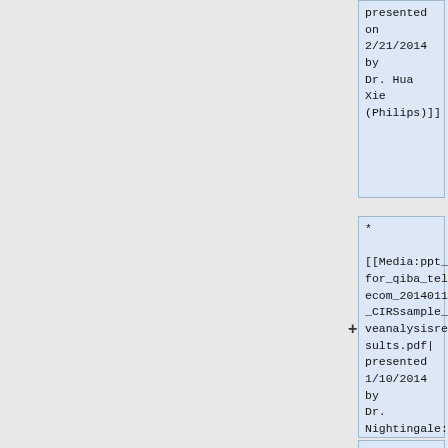presented on 2/21/2014 by Dr. Hua Xie (Philips)]]
* [[Media:ppt_for_qiba_telecom_20140110_CIRSsample_veanalysisresults.pdf| presented 1/10/2014 by Dr. Nightingale: Preliminary Results – CIRS VE phantom analysis]]
*